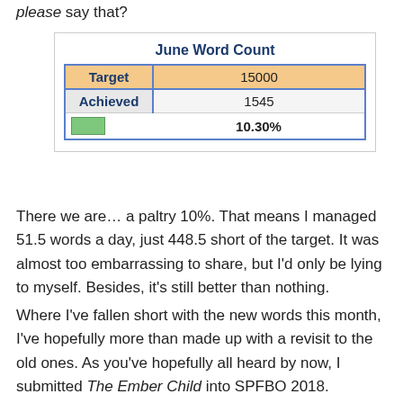please say that?
|  | June Word Count |
| --- | --- |
| Target | 15000 |
| Achieved | 1545 |
| [green bar] | 10.30% |
There we are… a paltry 10%.  That means I managed 51.5 words a day, just 448.5 short of the target.  It was almost too embarrassing to share, but I'd only be lying to myself.  Besides, it's still better than nothing.
Where I've fallen short with the new words this month, I've hopefully more than made up with a revisit to the old ones.  As you've hopefully all heard by now, I submitted The Ember Child into SPFBO 2018.